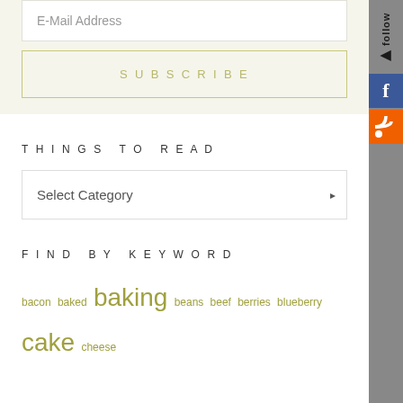E-Mail Address
SUBSCRIBE
THINGS TO READ
Select Category
FIND BY KEYWORD
bacon  baked  baking  beans  beef  berries  blueberry  cake  cheese